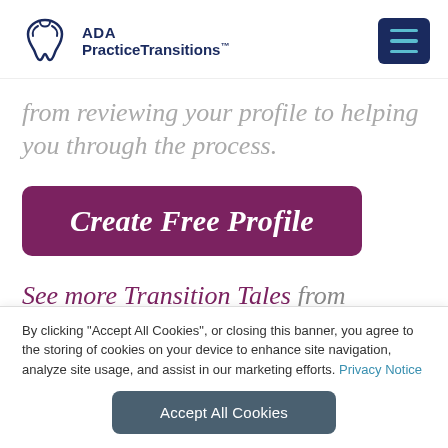ADA PracticeTransitions
from reviewing your profile to helping you through the process.
Create Free Profile
See more Transition Tales from dentists who have navigated their own career
By clicking "Accept All Cookies", or closing this banner, you agree to the storing of cookies on your device to enhance site navigation, analyze site usage, and assist in our marketing efforts. Privacy Notice
Accept All Cookies